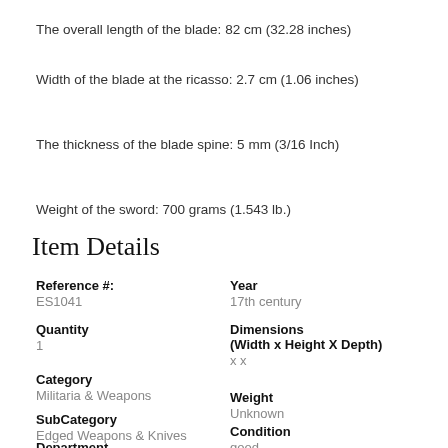The overall length of the blade: 82 cm (32.28 inches)
Width of the blade at the ricasso: 2.7 cm (1.06 inches)
The thickness of the blade spine: 5 mm (3/16 Inch)
Weight of the sword: 700 grams (1.543 lb.)
Item Details
Reference #: ES1041
Year: 17th century
Quantity: 1
Dimensions (Width x Height X Depth): x x
Category: Militaria & Weapons
Weight: Unknown
SubCategory: Edged Weapons & Knives
Condition: good
Department